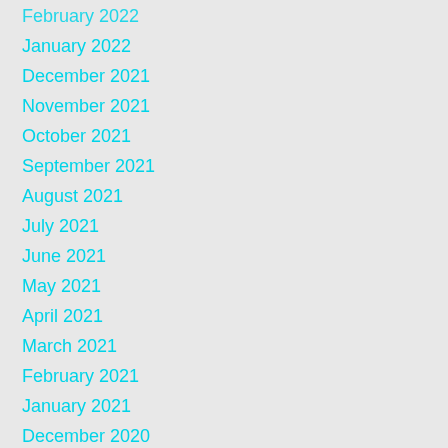February 2022
January 2022
December 2021
November 2021
October 2021
September 2021
August 2021
July 2021
June 2021
May 2021
April 2021
March 2021
February 2021
January 2021
December 2020
November 2020
October 2020
September 2020
August 2020
July 2020